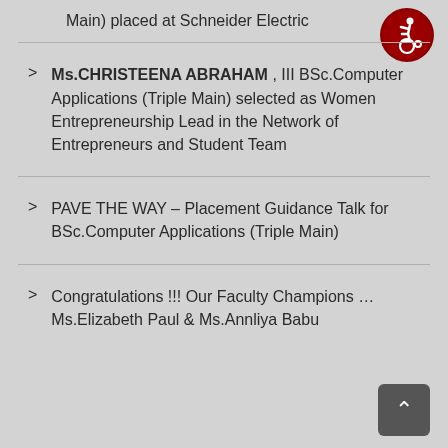Main) placed at Schneider Electric
[Figure (logo): Accessibility icon — person in wheelchair on dark red circular background]
Ms.CHRISTEENA ABRAHAM , III BSc.Computer Applications (Triple Main) selected as Women Entrepreneurship Lead in the Network of Entrepreneurs and Student Team
PAVE THE WAY – Placement Guidance Talk for BSc.Computer Applications (Triple Main)
Congratulations !!! Our Faculty Champions … Ms.Elizabeth Paul & Ms.Annliya Babu